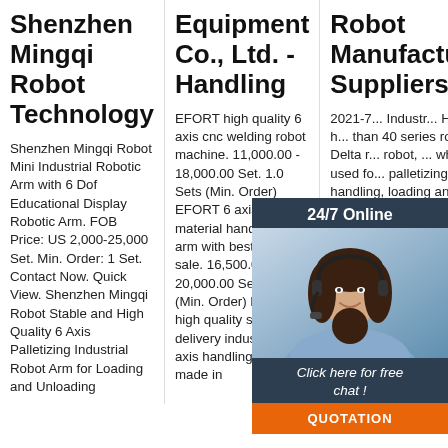Shenzhen Mingqi Robot Technology
Shenzhen Mingqi Robot Mini Industrial Robotic Arm with 6 Dof Educational Display Robotic Arm. FOB Price: US 2,000-25,000 Set. Min. Order: 1 Set. Contact Now. Quick View. Shenzhen Mingqi Robot Stable and High Quality 6 Axis Palletizing Industrial Robot Arm for Loading and Unloading
Equipment Co., Ltd. - Handling
EFORT high quality 6 axis cnc welding robot machine. 11,000.00 - 18,000.00 Set. 1.0 Sets (Min. Order) EFORT 6 axis 20kg material handing robot arm with best price for sale. 16,500.00 - 20,000.00 Set. 1 Set (Min. Order) EFORT high quality short delivery industrial six axis handling robot made in
Robot Manufacturers, Suppliers,
2021-7... Industrial HCNC robot has more than 40 series robot, Delta robot, which can be used for palletizing, welding, handling, loading and unloading for CNC machine, grinding and painting. The
[Figure (infographic): Chat widget overlay: '24/7 Online' header in dark teal, photo of woman with headset, 'Click here for free chat!' text, orange QUOTATION button]
[Figure (logo): TOP icon with orange dots forming a roof/house shape above orange TOP text]